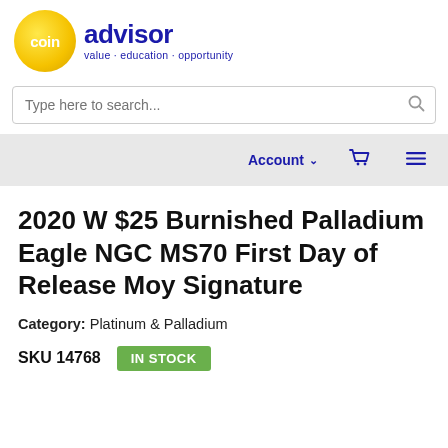[Figure (logo): Coin Advisor logo: gold circle with 'coin' text, followed by 'advisor' in dark blue bold, tagline 'value · education · opportunity']
Type here to search...
Account  [cart icon]  [menu icon]
2020 W $25 Burnished Palladium Eagle NGC MS70 First Day of Release Moy Signature
Category: Platinum & Palladium
SKU 14768  IN STOCK